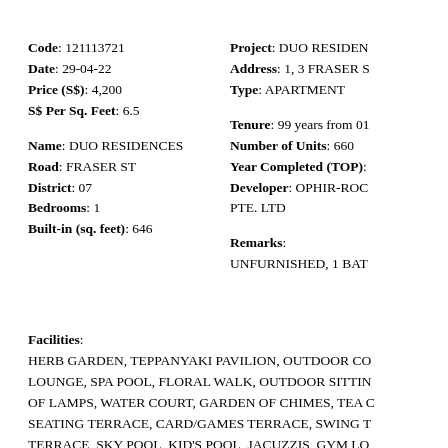Code: 121113721
Date: 29-04-22
Price (S$): 4,200
S$ Per Sq. Feet: 6.5
Name: DUO RESIDENCES
Road: FRASER ST
District: 07
Bedrooms: 1
Built-in (sq. feet): 646
Project: DUO RESIDEN...
Address: 1, 3 FRASER S...
Type: APARTMENT
Tenure: 99 years from 01...
Number of Units: 660
Year Completed (TOP):
Developer: OPHIR-ROC... PTE. LTD
Remarks:
UNFURNISHED, 1 BAT...
Facilities:
HERB GARDEN, TEPPANYAKI PAVILION, OUTDOOR CO... LOUNGE, SPA POOL, FLORAL WALK, OUTDOOR SITTIN... OF LAMPS, WATER COURT, GARDEN OF CHIMES, TEA C... SEATING TERRACE, CARD/GAMES TERRACE, SWING T... TERRACE, SKY POOL, KID'S POOL, JACUZZIS, GYM LO... MULTI-PURPOSE ROOM, LOUNGE DECK, LANDSCAPED... DECK, FAMILY JACUZZI, SPA CABANA, AQUA GYM, GY...